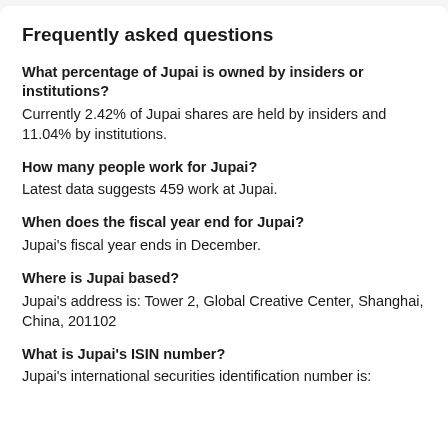Frequently asked questions
What percentage of Jupai is owned by insiders or institutions?
Currently 2.42% of Jupai shares are held by insiders and 11.04% by institutions.
How many people work for Jupai?
Latest data suggests 459 work at Jupai.
When does the fiscal year end for Jupai?
Jupai's fiscal year ends in December.
Where is Jupai based?
Jupai's address is: Tower 2, Global Creative Center, Shanghai, China, 201102
What is Jupai's ISIN number?
Jupai's international securities identification number is: